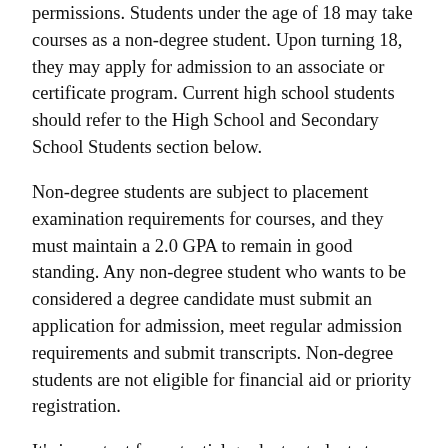permissions. Students under the age of 18 may take courses as a non-degree student. Upon turning 18, they may apply for admission to an associate or certificate program. Current high school students should refer to the High School and Secondary School Students section below.
Non-degree students are subject to placement examination requirements for courses, and they must maintain a 2.0 GPA to remain in good standing. Any non-degree student who wants to be considered a degree candidate must submit an application for admission, meet regular admission requirements and submit transcripts. Non-degree students are not eligible for financial aid or priority registration.
It's important for potential graduate students to understand that credits earned as a non-degree student might not be accepted for use toward a graduate degree program. Please see the transfer credit section of How to Earn a Graduate Degree ⇗ .
HIGH SCHOOL AND SECONDARY SCHOOL STUDENTS